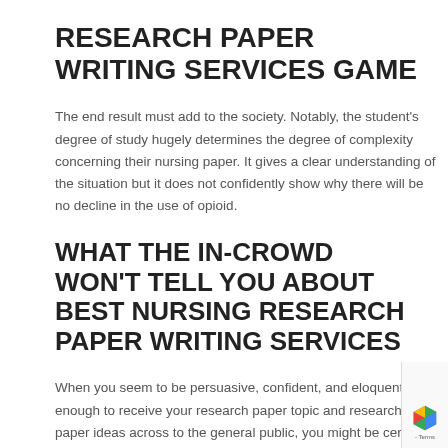RESEARCH PAPER WRITING SERVICES GAME
The end result must add to the society. Notably, the student's degree of study hugely determines the degree of complexity concerning their nursing paper. It gives a clear understanding of the situation but it does not confidently show why there will be no decline in the use of opioid.
WHAT THE IN-CROWD WON'T TELL YOU ABOUT BEST NURSING RESEARCH PAPER WRITING SERVICES
When you seem to be persuasive, confident, and eloquent enough to receive your research paper topic and research paper ideas across to the general public, you might be certain to get the maximum reward. Additionally, if you're conscious of how to compose a nursing research paper, it is going to help you find a job after school. When a